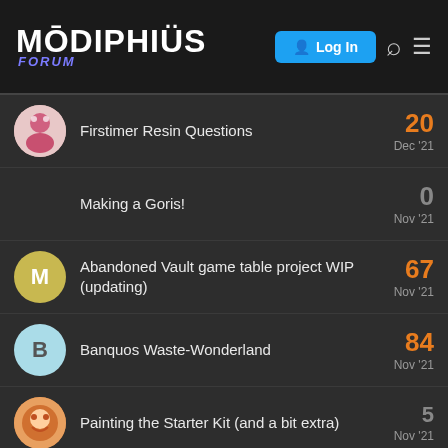[Figure (screenshot): Modiphius Forum header with logo, Login button, search and menu icons]
Firstimer Resin Questions — 20 replies — Dec '21
Making a Goris! — 0 replies — Nov '21
Abandoned Vault game table project WIP (updating) — 67 replies — Nov '21
Banquos Waste-Wonderland — 84 replies — Nov '21
Painting the Starter Kit (and a bit extra) — 5 replies — Nov '21
Atlantis Models "White-Fruehauf Gas Truck" Retro Tanker Kit — 2 replies